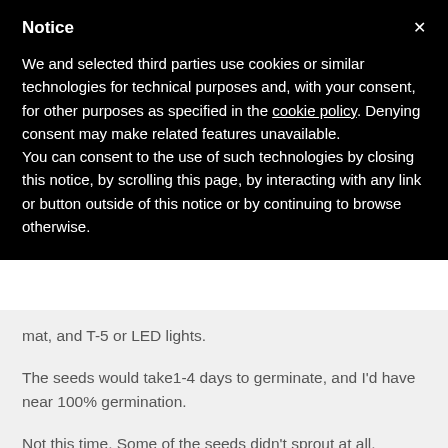Notice
We and selected third parties use cookies or similar technologies for technical purposes and, with your consent, for other purposes as specified in the cookie policy. Denying consent may make related features unavailable.
You can consent to the use of such technologies by closing this notice, by scrolling this page, by interacting with any link or button outside of this notice or by continuing to browse otherwise.
mat, and T-5 or LED lights.
The seeds would take1-4 days to germinate, and I'd have near 100% germination.
Not this time. Some of the seeds didn't sprout at all.
I suspect that the dirt had harmful microbes in it that rotted some of my seeds.